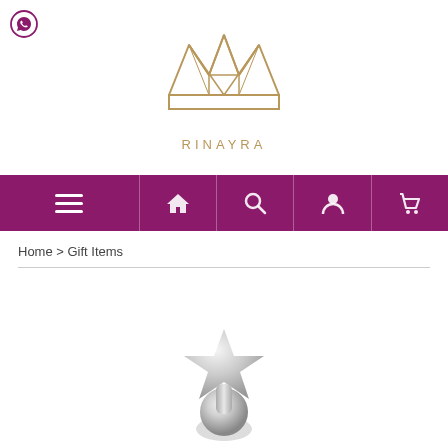[Figure (logo): Rinayra brand logo: geometric crown outline in gold/tan color above the text RINAYRA in spaced gold letters]
[Figure (screenshot): Purple navigation bar with hamburger menu on the left, and icons for home, search, user, and cart on the right]
Home > Gift Items
[Figure (photo): Silver decorative figurine with a star shape on top and a spherical ball base, chrome/silver finish]